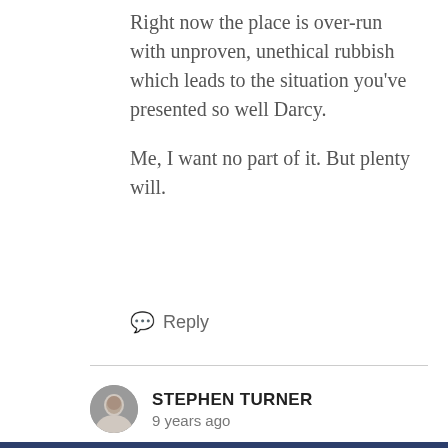Right now the place is over-run with unproven, unethical rubbish which leads to the situation you've presented so well Darcy.

Me, I want no part of it. But plenty will.
Reply
STEPHEN TURNER
9 years ago
I don't quite get this attitude. How does BYOD